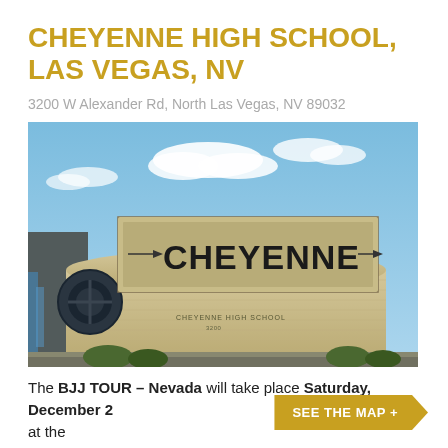CHEYENNE HIGH SCHOOL, LAS VEGAS, NV
3200 W Alexander Rd, North Las Vegas, NV 89032
[Figure (photo): Exterior photo of Cheyenne High School building in Las Vegas, NV. The building has a curved stone facade with a large rectangular sign reading 'CHEYENNE' in bold dark letters. Blue sky with white clouds in the background.]
The BJJ TOUR – Nevada will take place Saturday, December 2 at the Cheyenne High School, Las Vegas, NV.